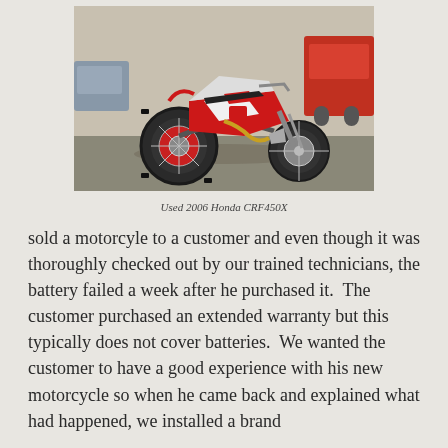[Figure (photo): Photo of a red and white 2006 Honda CRF450X dirt bike/motorcycle, rear three-quarter view, parked on asphalt. A red truck is visible in the background.]
Used 2006 Honda CRF450X
sold a motorcyle to a customer and even though it was thoroughly checked out by our trained technicians, the battery failed a week after he purchased it.  The customer purchased an extended warranty but this typically does not cover batteries.  We wanted the customer to have a good experience with his new motorcycle so when he came back and explained what had happened, we installed a brand